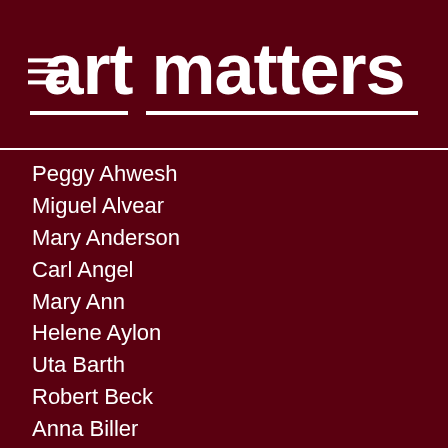art matters
Peggy Ahwesh
Miguel Alvear
Mary Anderson
Carl Angel
Mary Ann
Helene Aylon
Uta Barth
Robert Beck
Anna Biller
Sandow Birk
Susan Black
Douglas M. Brewster
Deborah Bright
Beliz Brother
Robert Buitron
Mark Calderon
Alan Carrier
Nicole Charbonnet
Michael Ray Charles